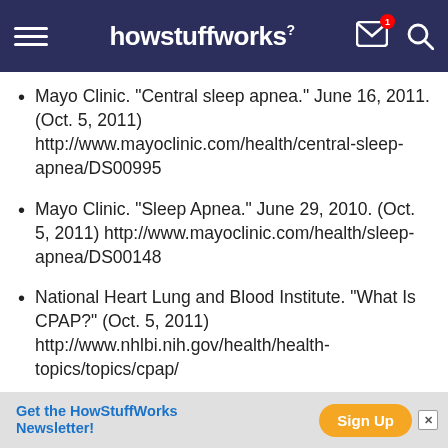howstuffworks
Mayo Clinic. "Central sleep apnea." June 16, 2011. (Oct. 5, 2011) http://www.mayoclinic.com/health/central-sleep-apnea/DS00995
Mayo Clinic. "Sleep Apnea." June 29, 2010. (Oct. 5, 2011) http://www.mayoclinic.com/health/sleep-apnea/DS00148
National Heart Lung and Blood Institute. "What Is CPAP?" (Oct. 5, 2011) http://www.nhlbi.nih.gov/health/health-topics/topics/cpap/
Get the HowStuffWorks Newsletter! Sign Up